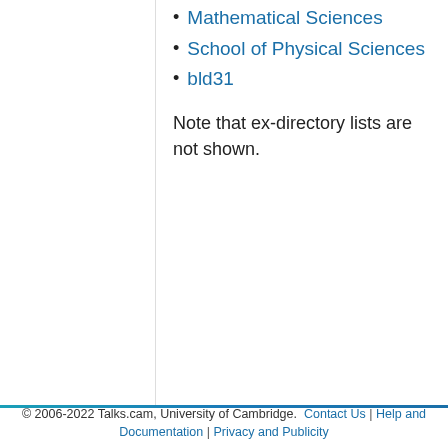Mathematical Sciences
School of Physical Sciences
bld31
Note that ex-directory lists are not shown.
© 2006-2022 Talks.cam, University of Cambridge. Contact Us | Help and Documentation | Privacy and Publicity